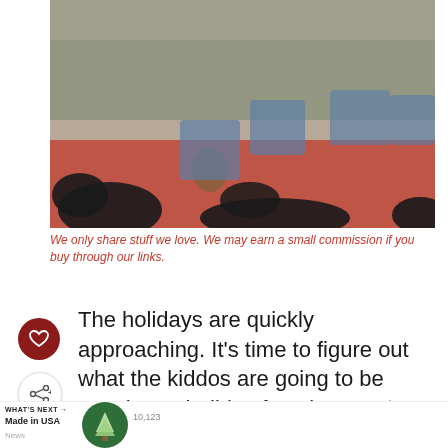[Figure (photo): Children wearing denim shirts and red tutus sitting on steps with two black Labrador puppies, holiday themed photo shoot]
We only share stuff we love. We may earn a small commission if you buy through our links.
The holidays are quickly approaching. It's time to figure out what the kiddos are going to be wearing to holiday functions and on Christmas morning. It's tricky, but not impossible to find cute dresses for girls that the whole family…
WHAT'S NEXT → Made in USA News